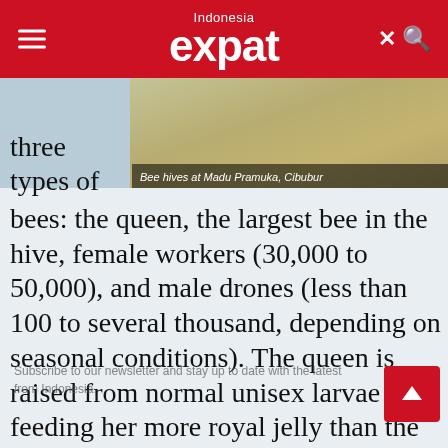Indonesia expat
[Figure (photo): Bee hives at Madu Pramuka, Cibubur — close-up photo of honeycombs with bees]
Bee hives at Madu Pramuka, Cibubur
three types of bees: the queen, the largest bee in the hive, female workers (30,000 to 50,000), and male drones (less than 100 to several thousand, depending on seasonal conditions). The queen is raised from normal unisex larvae by feeding her more royal jelly than the others. She emerges from her cell after 15 days and remains in the hive for another three to seven days, after which she sets out on up to 12 mating flights. Drones follow her, and far away from the hive and high up in the air – probably to sort the weak drones from the